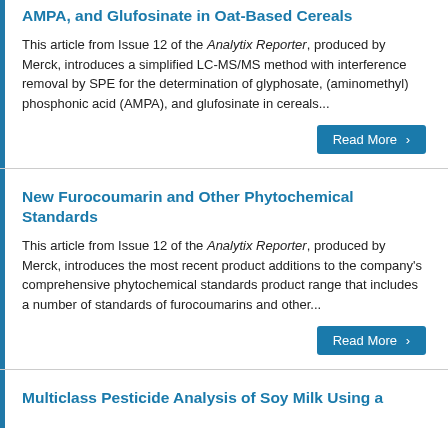AMPA, and Glufosinate in Oat-Based Cereals
This article from Issue 12 of the Analytix Reporter, produced by Merck, introduces a simplified LC-MS/MS method with interference removal by SPE for the determination of glyphosate, (aminomethyl) phosphonic acid (AMPA), and glufosinate in cereals...
Read More
New Furocoumarin and Other Phytochemical Standards
This article from Issue 12 of the Analytix Reporter, produced by Merck, introduces the most recent product additions to the company's comprehensive phytochemical standards product range that includes a number of standards of furocoumarins and other...
Read More
Multiclass Pesticide Analysis of Soy Milk Using a